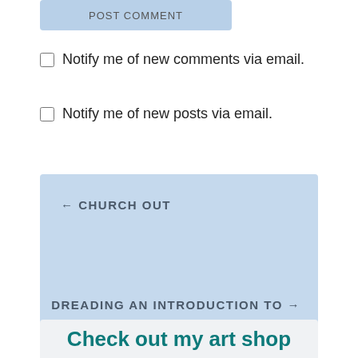[Figure (screenshot): Partial POST COMMENT button with light blue background, cropped at top]
Notify me of new comments via email.
Notify me of new posts via email.
← CHURCH OUT
DREADING AN INTRODUCTION TO BIBLICAL STUDIES →
Check out my art shop